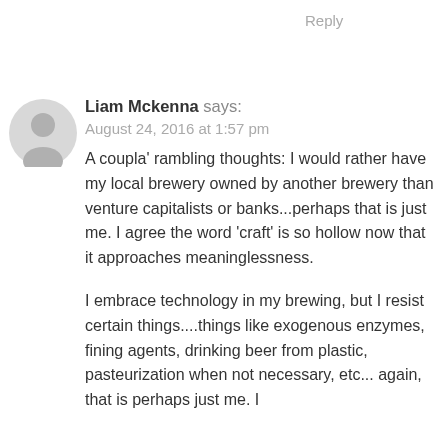Reply
Liam Mckenna says:
August 24, 2016 at 1:57 pm
A coupla' rambling thoughts: I would rather have my local brewery owned by another brewery than venture capitalists or banks...perhaps that is just me. I agree the word 'craft' is so hollow now that it approaches meaninglessness.

I embrace technology in my brewing, but I resist certain things....things like exogenous enzymes, fining agents, drinking beer from plastic, pasteurization when not necessary, etc... again, that is perhaps just me. I